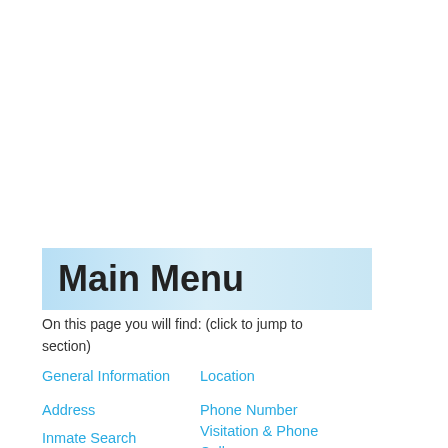Main Menu
On this page you will find: (click to jump to section)
General Information
Location
Address
Phone Number
Inmate Search
Visitation & Phone Calls